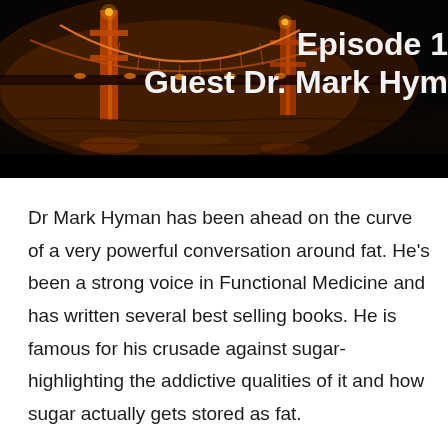[Figure (photo): Banner image showing a night-time photo of a suspension bridge (Golden Gate style) lit in warm orange/amber light, with dark water reflection below. White bold text overlaid on the right reads 'Episode 1' and 'Guest Dr. Mark Hym' (partially cropped).]
Dr Mark Hyman has been ahead on the curve of a very powerful conversation around fat. He's been a strong voice in Functional Medicine and has written several best selling books. He is famous for his crusade against sugar- highlighting the addictive qualities of it and how sugar actually gets stored as fat.